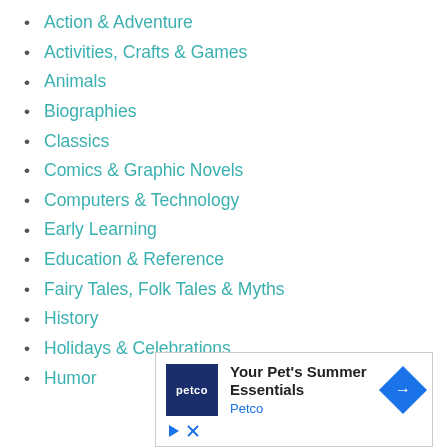Action & Adventure
Activities, Crafts & Games
Animals
Biographies
Classics
Comics & Graphic Novels
Computers & Technology
Early Learning
Education & Reference
Fairy Tales, Folk Tales & Myths
History
Holidays & Celebrations
Humor
[Figure (other): Petco advertisement banner with logo, text 'Your Pet's Summer Essentials', 'Petco', a blue diamond arrow icon, and ad control icons (play and close).]